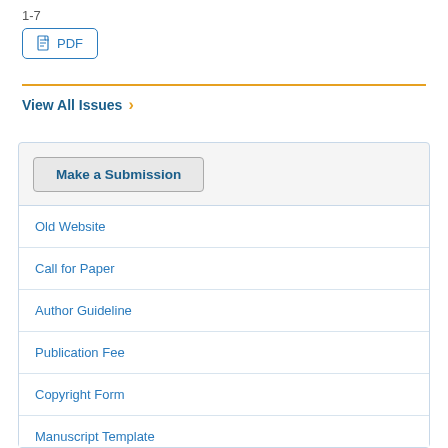1-7
PDF
View All Issues >
Make a Submission
Old Website
Call for Paper
Author Guideline
Publication Fee
Copyright Form
Manuscript Template
Membership form
Indexing